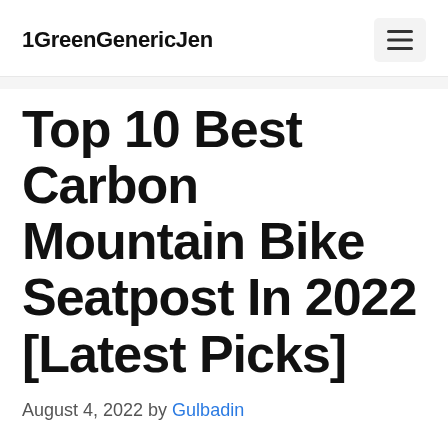1GreenGenericJen
Top 10 Best Carbon Mountain Bike Seatpost In 2022 [Latest Picks]
August 4, 2022 by Gulbadin